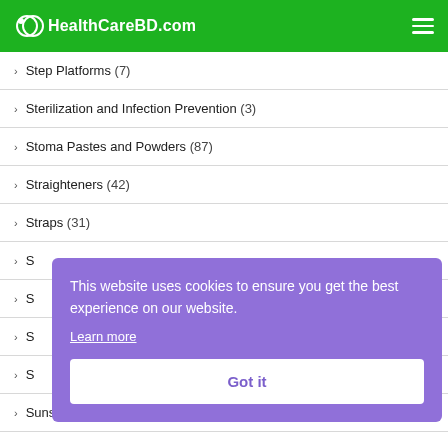HealthCareBD.com
Step Platforms (7)
Sterilization and Infection Prevention (3)
Stoma Pastes and Powders (87)
Straighteners (42)
Straps (31)
S...
S...
S...
S...
Sunscreens (8)
This website uses cookies to ensure you get the best experience on our website. Learn more Got it